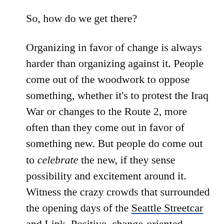So, how do we get there?
Organizing in favor of change is always harder than organizing against it. People come out of the woodwork to oppose something, whether it's to protest the Iraq War or changes to the Route 2, more often than they come out in favor of something new. But people do come out to celebrate the new, if they sense possibility and excitement around it. Witness the crazy crowds that surrounded the opening days of the Seattle Streetcar and Link. Positive, change-oriented agendas can have their own power, but they have to be specific, tangible, and actionable. Think Obama 2008: Change = Hope = Vote for This Dude. End of story.
For density advocates, raising money is in some ways